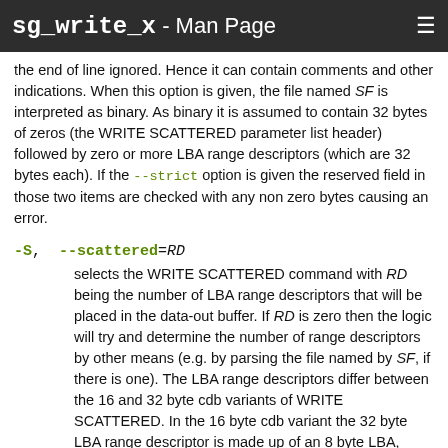sg_write_x - Man Page
the end of line ignored. Hence it can contain comments and other indications. When this option is given, the file named SF is interpreted as binary. As binary it is assumed to contain 32 bytes of zeros (the WRITE SCATTERED parameter list header) followed by zero or more LBA range descriptors (which are 32 bytes each). If the --strict option is given the reserved field in those two items are checked with any non zero bytes causing an error.
-S, --scattered=RD
selects the WRITE SCATTERED command with RD being the number of LBA range descriptors that will be placed in the data-out buffer. If RD is zero then the logic will try and determine the number of range descriptors by other means (e.g. by parsing the file named by SF, if there is one). The LBA range descriptors differ between the 16 and 32 byte cdb variants of WRITE SCATTERED. In the 16 byte cdb variant the 32 byte LBA range descriptor is made up of an 8 byte LBA, followed by a 4 byte number_of_blocks followed by 20 bytes of zeros. In the 32 byte variant the LBA range descriptor fields bl...